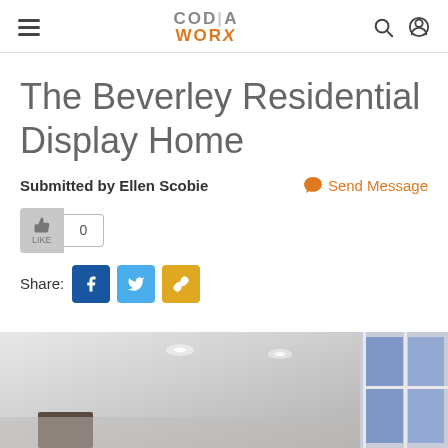CODiA WORX — navigation header with hamburger menu, logo, search icon, user icon
The Beverley Residential Display Home
Submitted by Ellen Scobie
Send Message
[Figure (screenshot): Like button with count of 0]
Share:
[Figure (screenshot): Share buttons: Facebook (blue), Twitter (light blue), Link (gold/yellow)]
[Figure (photo): Interior photo of a residential room showing white ceiling with recessed lighting and windows with blue-tinted glass on the right]